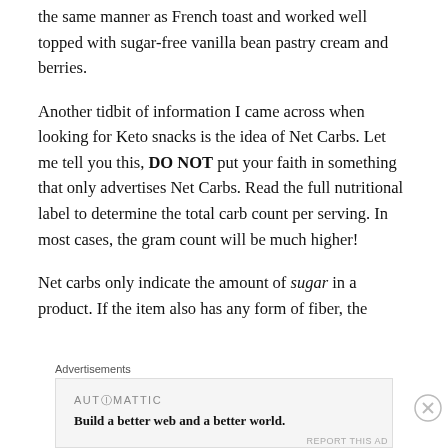the same manner as French toast and worked well topped with sugar-free vanilla bean pastry cream and berries.
Another tidbit of information I came across when looking for Keto snacks is the idea of Net Carbs. Let me tell you this, DO NOT put your faith in something that only advertises Net Carbs. Read the full nutritional label to determine the total carb count per serving. In most cases, the gram count will be much higher!
Net carbs only indicate the amount of sugar in a product. If the item also has any form of fiber, the
Advertisements
[Figure (other): Advertisement banner: AUTOMATTIC logo text with tagline 'Build a better web and a better world.']